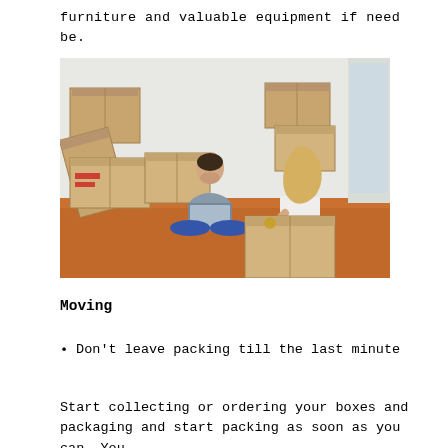furniture and valuable equipment if need be.
[Figure (photo): A man sitting cross-legged on a wooden floor using a laptop, surrounded by moving boxes, while a woman kneels nearby taping up a cardboard box. Several stacked moving boxes are visible in the background against a white wall.]
Moving
Don't leave packing till the last minute
Start collecting or ordering your boxes and packaging and start packing as soon as you can. You